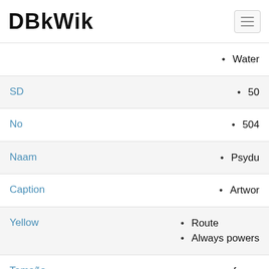DBkWik
Water
SD
50
No
504
Naam
Psydu
Caption
Artwor
Yellow
Route
Always powers
Tamaño
frame
xy
Route